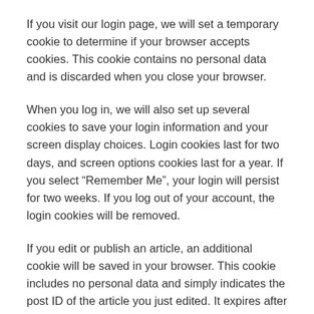If you visit our login page, we will set a temporary cookie to determine if your browser accepts cookies. This cookie contains no personal data and is discarded when you close your browser.
When you log in, we will also set up several cookies to save your login information and your screen display choices. Login cookies last for two days, and screen options cookies last for a year. If you select “Remember Me”, your login will persist for two weeks. If you log out of your account, the login cookies will be removed.
If you edit or publish an article, an additional cookie will be saved in your browser. This cookie includes no personal data and simply indicates the post ID of the article you just edited. It expires after 1 day.
Embedded content from other